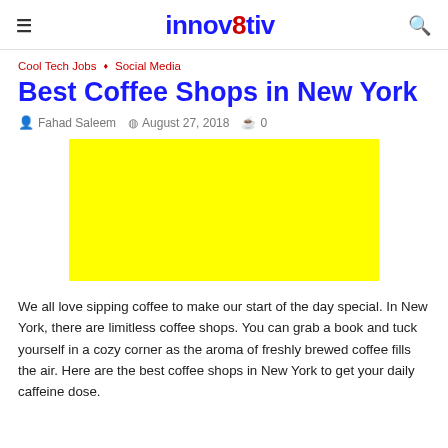innov8tiv
Cool Tech Jobs ◆ Social Media
Best Coffee Shops in New York
Fahad Saleem   August 27, 2018   0
[Figure (photo): Yellow rectangle placeholder image]
We all love sipping coffee to make our start of the day special. In New York, there are limitless coffee shops. You can grab a book and tuck yourself in a cozy corner as the aroma of freshly brewed coffee fills the air. Here are the best coffee shops in New York to get your daily caffeine dose.